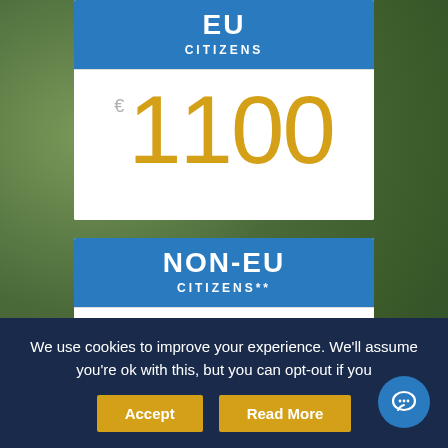EU CITIZENS
€1100
NON-EU CITIZENS**
€1200
We use cookies to improve your experience. We'll assume you're ok with this, but you can opt-out if you